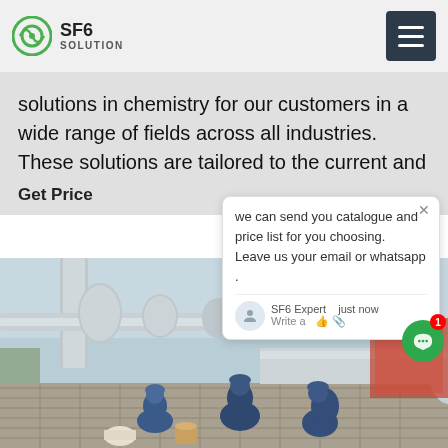[Figure (logo): SF6 Solution logo with green circular icon]
solutions in chemistry for our customers in a wide range of fields across all industries. These solutions are tailored to the current and
Get Price
we can send you catalogue and price list for you choosing.
Leave us your email or whatsapp .
SF6 Expert   just now
Write a
[Figure (photo): Workers in blue protective suits working on industrial SF6 gas equipment and large pipes on a rooftop industrial facility]